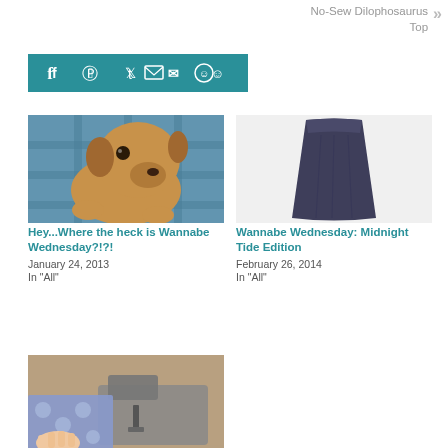No-Sew Dilophosaurus Top »
[Figure (other): Teal/turquoise social share bar with icons: Facebook, Pinterest, Twitter, Email, Reddit]
[Figure (photo): Photo of a brown dachshund puppy looking up at the camera against a plaid background]
Hey...Where the heck is Wannabe Wednesday?!?!
January 24, 2013
In "All"
[Figure (photo): Photo of a dark navy/charcoal skirt on a white background]
Wannabe Wednesday: Midnight Tide Edition
February 26, 2014
In "All"
[Figure (photo): Photo of hands sewing blue and white patterned fabric at a sewing machine]
Wannabe Wednesday: Ressica Edition